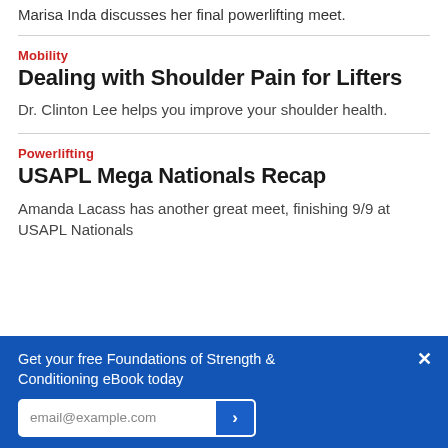Marisa Inda discusses her final powerlifting meet.
Mobility
Dealing with Shoulder Pain for Lifters
Dr. Clinton Lee helps you improve your shoulder health.
Powerlifting
USAPL Mega Nationals Recap
Amanda Lacass has another great meet, finishing 9/9 at USAPL Nationals
Get your free Foundations of Strength & Conditioning eBook today
email@example.com